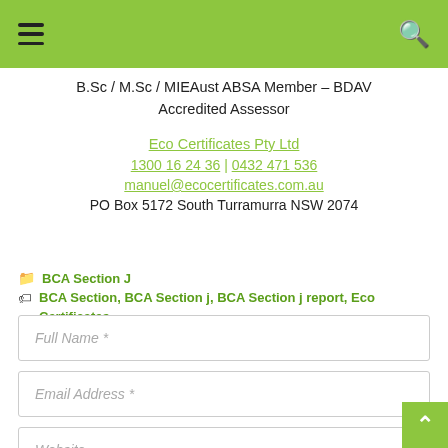Navigation header with hamburger menu and search icon
B.Sc / M.Sc / MIEAust ABSA Member – BDAV Accredited Assessor
Eco Certificates Pty Ltd
1300 16 24 36 | 0432 471 536
manuel@ecocertificates.com.au
PO Box 5172 South Turramurra NSW 2074
BCA Section J
BCA Section, BCA Section j, BCA Section j report, Eco Certificates